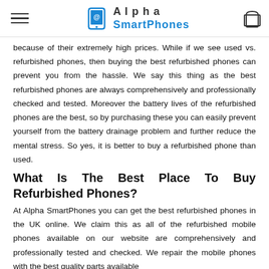Alpha SmartPhones
because of their extremely high prices. While if we see used vs. refurbished phones, then buying the best refurbished phones can prevent you from the hassle. We say this thing as the best refurbished phones are always comprehensively and professionally checked and tested. Moreover the battery lives of the refurbished phones are the best, so by purchasing these you can easily prevent yourself from the battery drainage problem and further reduce the mental stress. So yes, it is better to buy a refurbished phone than used.
What Is The Best Place To Buy Refurbished Phones?
At Alpha SmartPhones you can get the best refurbished phones in the UK online. We claim this as all of the refurbished mobile phones available on our website are comprehensively and professionally tested and checked. We repair the mobile phones with the best quality parts available